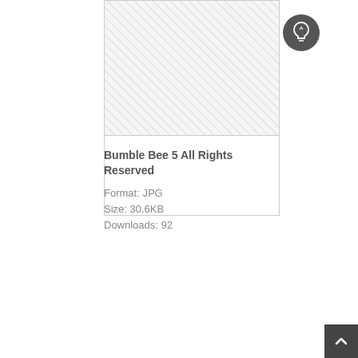[Figure (photo): Image placeholder with hatched/checkered gray pattern, representing a photo of Bumble Bee 5, with a white lower portion and border. A dark circular lightbulb icon appears at the top right.]
Bumble Bee 5 All Rights Reserved
Format: JPG
Size: 30.6KB
Downloads: 92